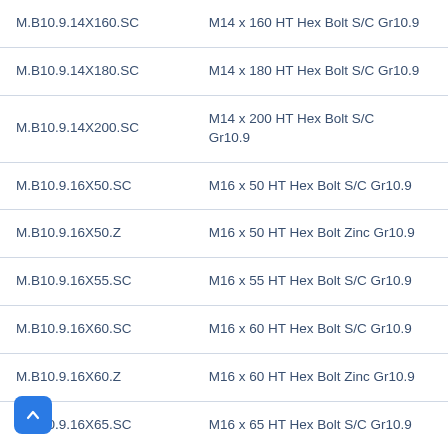| Code | Description |
| --- | --- |
| M.B10.9.14X160.SC | M14 x 160 HT Hex Bolt S/C Gr10.9 |
| M.B10.9.14X180.SC | M14 x 180 HT Hex Bolt S/C Gr10.9 |
| M.B10.9.14X200.SC | M14 x 200 HT Hex Bolt S/C Gr10.9 |
| M.B10.9.16X50.SC | M16 x 50 HT Hex Bolt S/C Gr10.9 |
| M.B10.9.16X50.Z | M16 x 50 HT Hex Bolt Zinc Gr10.9 |
| M.B10.9.16X55.SC | M16 x 55 HT Hex Bolt S/C Gr10.9 |
| M.B10.9.16X60.SC | M16 x 60 HT Hex Bolt S/C Gr10.9 |
| M.B10.9.16X60.Z | M16 x 60 HT Hex Bolt Zinc Gr10.9 |
| M.B10.9.16X65.SC | M16 x 65 HT Hex Bolt S/C Gr10.9 |
| M.B10.9.16X70.SC | M16 x 70 HT Hex Bolt S/C Gr10.9 |
| M.B10.9.16X70.Z | M16 x 70 HT Hex Bolt Zinc Gr10.9 |